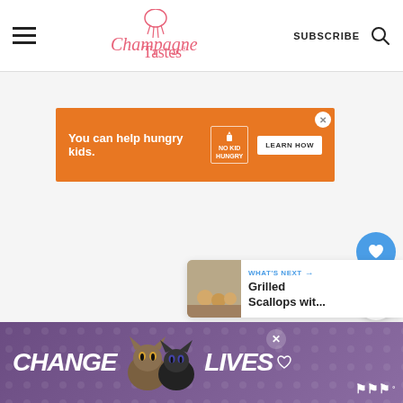Champagne Tastes - SUBSCRIBE
[Figure (screenshot): Orange advertisement banner: 'You can help hungry kids.' with No Kid Hungry logo and LEARN HOW button]
[Figure (infographic): Blue circular FAB button with heart icon (save/like)]
[Figure (infographic): White circular FAB button with share icon]
[Figure (screenshot): What's Next promo card showing 'Grilled Scallops wit...' with thumbnail]
[Figure (screenshot): Bottom advertisement banner: CHANGE LIVES with cat imagery, purple/violet background, close button, and Meredith logo]